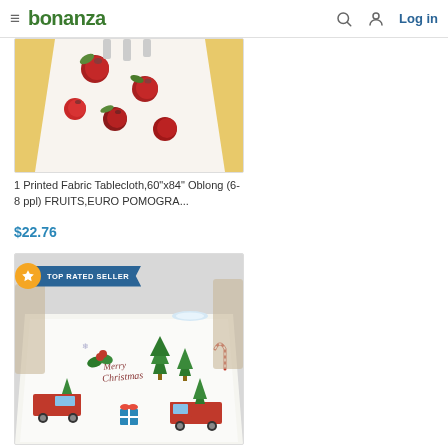bonanza — Log in
[Figure (photo): Partial product image of a printed fabric tablecloth with fruit/pomegranate pattern on yellow background]
1 Printed Fabric Tablecloth,60"x84" Oblong (6-8 ppl) FRUITS,EURO POMOGRA...
$22.76
[Figure (photo): Christmas themed tablecloth with Merry Christmas text, trees, red trucks, holly, and gifts pattern on white background, with TOP RATED SELLER badge]